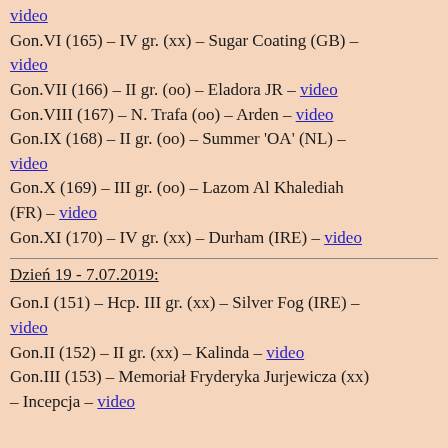video
Gon.VI (165) – IV gr. (xx) – Sugar Coating (GB) – video
Gon.VII (166) – II gr. (oo) – Eladora JR – video
Gon.VIII (167) – N. Trafa (oo) – Arden – video
Gon.IX (168) – II gr. (oo) – Summer 'OA' (NL) – video
Gon.X (169) – III gr. (oo) – Lazom Al Khalediah (FR) – video
Gon.XI (170) – IV gr. (xx) – Durham (IRE) – video
Dzień 19 - 7.07.2019:
Gon.I (151) – Hcp. III gr. (xx) – Silver Fog (IRE) – video
Gon.II (152) – II gr. (xx) – Kalinda – video
Gon.III (153) – Memoriał Fryderyka Jurjewicza (xx) – Incepcja – video